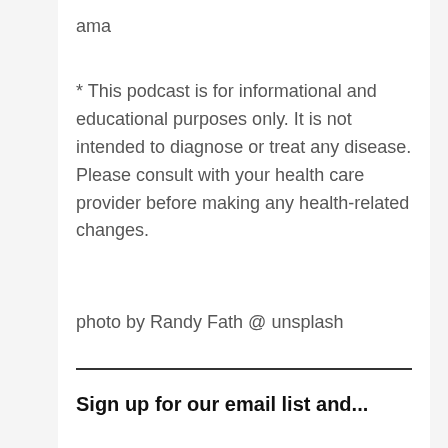ama
* This podcast is for informational and educational purposes only. It is not intended to diagnose or treat any disease. Please consult with your health care provider before making any health-related changes.
photo by Randy Fath @ unsplash
Sign up for our email list and...